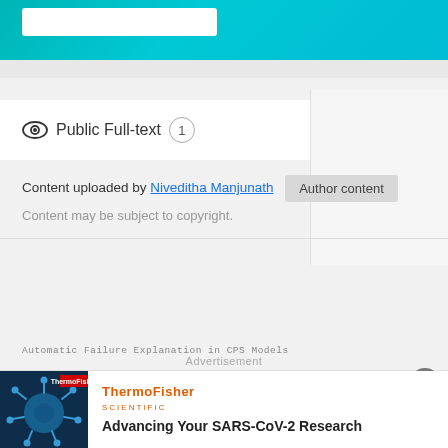[Figure (screenshot): Top teal/cyan gradient banner with a white search box in the upper left]
Public Full-text 1
Content uploaded by Niveditha Manjunath  Author content
Content may be subject to copyright.
Automatic Failure Explanation in CPS Models
Advertisement
[Figure (illustration): ThermoFisher Scientific advertisement showing a coronavirus image with the text Advancing Your SARS-CoV-2 Research]